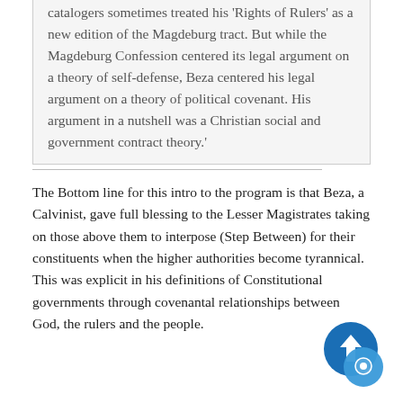catalogers sometimes treated his 'Rights of Rulers' as a new edition of the Magdeburg tract. But while the Magdeburg Confession centered its legal argument on a theory of self-defense, Beza centered his legal argument on a theory of political covenant. His argument in a nutshell was a Christian social and government contract theory.'
The Bottom line for this intro to the program is that Beza, a Calvinist, gave full blessing to the Lesser Magistrates taking on those above them to interpose (Step Between) for their constituents when the higher authorities become tyrannical. This was explicit in his definitions of Constitutional governments through covenantal relationships between God, the rulers and the people.